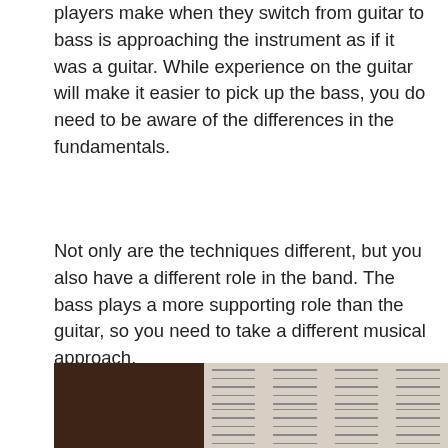players make when they switch from guitar to bass is approaching the instrument as if it was a guitar. While experience on the guitar will make it easier to pick up the bass, you do need to be aware of the differences in the fundamentals.
Not only are the techniques different, but you also have a different role in the band. The bass plays a more supporting role than the guitar, so you need to take a different musical approach.
[Figure (photo): Partial photograph showing what appears to be a guitar or bass instrument on the left (dark wood tones) and sheet music on the right side, cropped at the bottom of the page.]